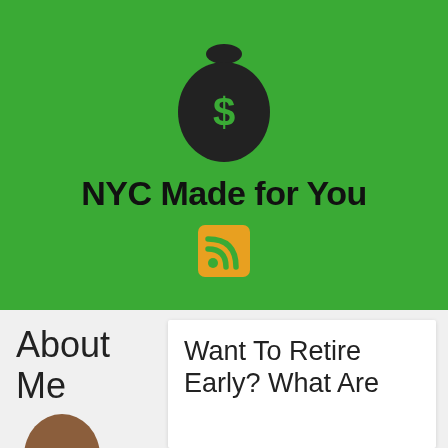[Figure (logo): Money bag icon on green background with dollar sign, site title 'NYC Made for You', and RSS feed icon]
NYC Made for You
About Me
Want To Retire Early? What Are